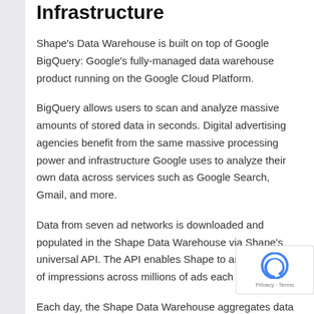Infrastructure
Shape’s Data Warehouse is built on top of Google BigQuery: Google’s fully-managed data warehouse product running on the Google Cloud Platform.
BigQuery allows users to scan and analyze massive amounts of stored data in seconds. Digital advertising agencies benefit from the same massive processing power and infrastructure Google uses to analyze their own data across services such as Google Search, Gmail, and more.
Data from seven ad networks is downloaded and populated in the Shape Data Warehouse via Shape’s universal API. The API enables Shape to analyze billions of impressions across millions of ads each
Each day, the Shape Data Warehouse aggregates data